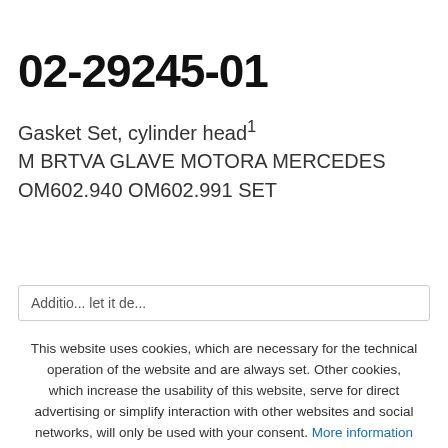[Figure (logo): VICTOR REINZ brand logo with blue underline and diamond badge icon]
02-29245-01
Gasket Set, cylinder head¹ M BRTVA GLAVE MOTORA MERCEDES OM602.940 OM602.991 SET
This website uses cookies, which are necessary for the technical operation of the website and are always set. Other cookies, which increase the usability of this website, serve for direct advertising or simplify interaction with other websites and social networks, will only be used with your consent. More information